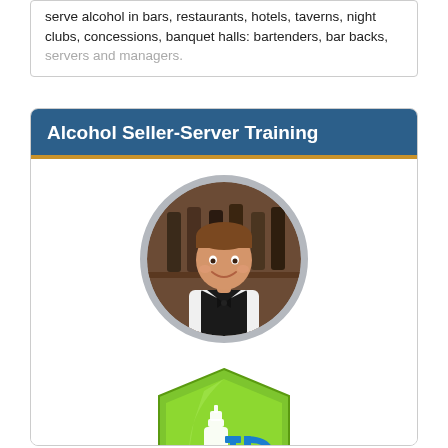serve alcohol in bars, restaurants, hotels, taverns, night clubs, concessions, banquet halls: bartenders, bar backs, servers and managers.
Alcohol Seller-Server Training
[Figure (photo): Circular photo of a smiling young male bartender wearing a black vest and bow tie, with wine bottles in the background]
[Figure (logo): Green shield-shaped badge logo with a white wine bottle silhouette on the left and blue 'ID' letters on the right, representing alcohol seller-server ID check training]